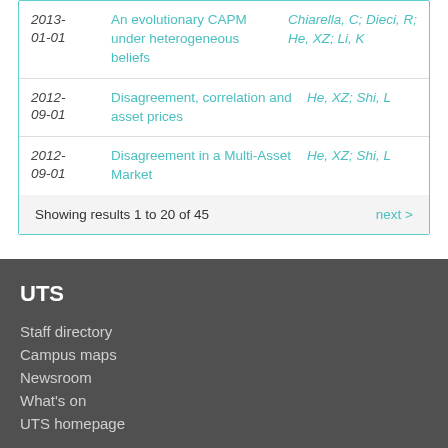| Date | Title | Authors |
| --- | --- | --- |
| 2013-01-01 | An evolutionary CAPM under heterogeneous beliefs | Chiarella, C; Dieci, R; He, XZ; Li, K |
| 2012-09-01 | Disagreement, correlation and asset prices | He, XZ; Shi, L |
| 2012-09-01 | Disagreement in a Multi-Asset Market | He, XZ; Shi, L |
Showing results 1 to 20 of 45
next >
UTS
Staff directory
Campus maps
Newsroom
What's on
UTS homepage